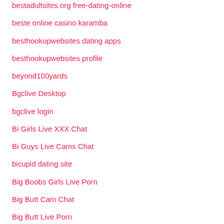bestadultsites.org free-dating-online
beste online casino karamba
besthookupwebsites dating apps
besthookupwebsites profile
beyond100yards
Bgclive Desktop
bgclive login
Bi Girls Live XXX Chat
Bi Guys Live Cams Chat
bicupid dating site
Big Boobs Girls Live Porn
Big Butt Cam Chat
Big Butt Live Porn
Big Butt Live XXX Sex